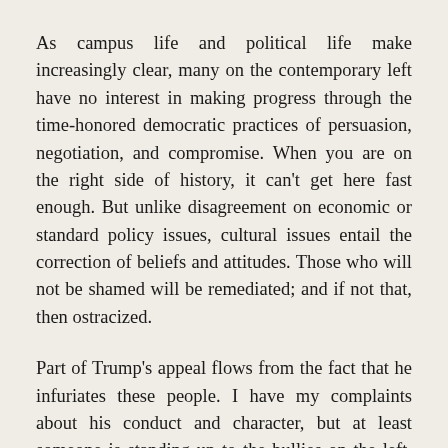As campus life and political life make increasingly clear, many on the contemporary left have no interest in making progress through the time-honored democratic practices of persuasion, negotiation, and compromise. When you are on the right side of history, it can't get here fast enough. But unlike disagreement on economic or standard policy issues, cultural issues entail the correction of beliefs and attitudes. Those who will not be shamed will be remediated; and if not that, then ostracized.
Part of Trump's appeal flows from the fact that he infuriates these people. I have my complaints about his conduct and character, but at least someone is standing up to the bullies on the left. On college campuses the left will keep thumping